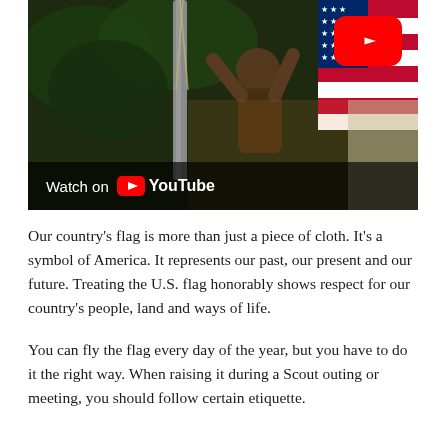[Figure (screenshot): YouTube video thumbnail showing a person raising an American flag on a flagpole, with trees in the background. A YouTube play button overlay is visible in the top right corner, and a 'Watch on YouTube' bar appears at the bottom of the video.]
Our country’s flag is more than just a piece of cloth. It’s a symbol of America. It represents our past, our present and our future. Treating the U.S. flag honorably shows respect for our country’s people, land and ways of life.
You can fly the flag every day of the year, but you have to do it the right way. When raising it during a Scout outing or meeting, you should follow certain etiquette.